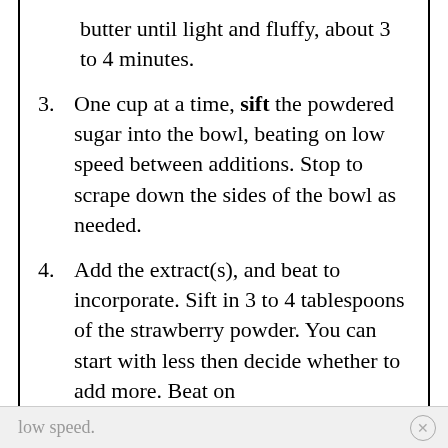butter until light and fluffy, about 3 to 4 minutes.
3. One cup at a time, sift the powdered sugar into the bowl, beating on low speed between additions. Stop to scrape down the sides of the bowl as needed.
4. Add the extract(s), and beat to incorporate. Sift in 3 to 4 tablespoons of the strawberry powder. You can start with less then decide whether to add more. Beat on
low speed.